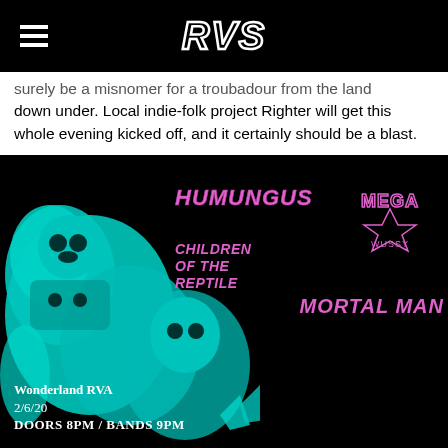RVS
surely be a misnomer for a troubadour from the land down under. Local indie-folk project Righter will get this whole evening kicked off, and it certainly should be a blast.
[Figure (illustration): Concert flyer with teal punk/metal illustration of figures. Band names shown in pink/purple stylized text: Humungus, Mega (stylized logo), Children of the Reptile, Mortal Man. Event details: Wonderland RVA, 2/6/20, Doors 8PM / Bands 9PM.]
Wonderland RVA
2/6/20
Doors 8PM / Bands 9PM